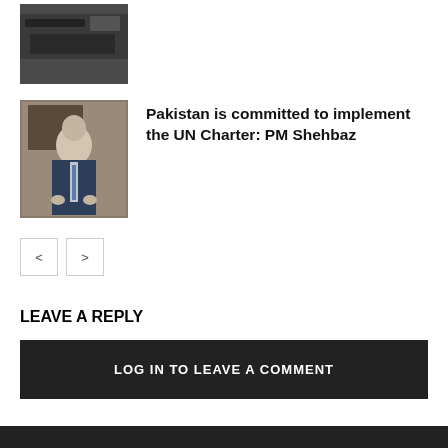[Figure (photo): Thumbnail photo of a news article about a bus or tanker incident]
[Figure (photo): Photo of PM Shehbaz seated at a desk in a suit]
Pakistan is committed to implement the UN Charter: PM Shehbaz
< >
LEAVE A REPLY
LOG IN TO LEAVE A COMMENT